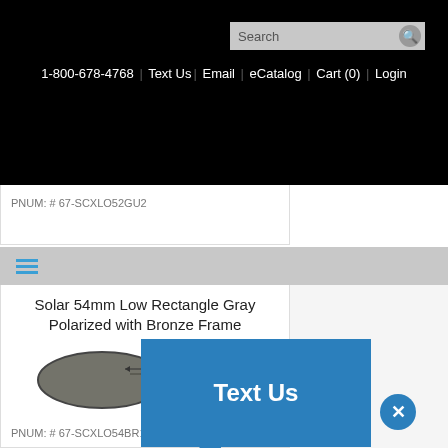Search | 1-800-678-4768 | Text Us | Email | eCatalog | Cart (0) | Login
PNUM: # 67-SCXLO52GU2
Solar 54mm Low Rectangle Gray Polarized with Bronze Frame
[Figure (photo): Clip-on sunglasses lenses, gray polarized, shown from front view with bridge connecting two lenses]
PNUM: # 67-SCXLO54BR1
Text Us